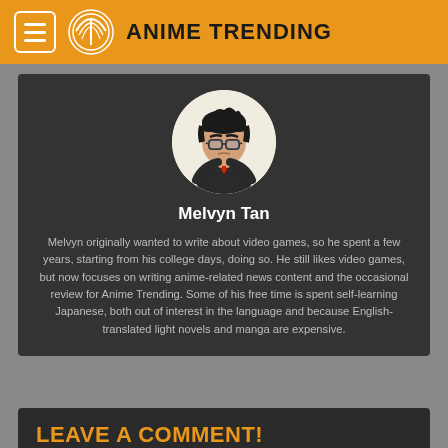ANIME TRENDING
[Figure (illustration): Anime-style avatar of Melvyn Tan: dark-haired male character with glasses, arms crossed, wearing a dark jacket and red tie]
Melvyn Tan
Melvyn originally wanted to write about video games, so he spent a few years, starting from his college days, doing so. He still likes video games, but now focuses on writing anime-related news content and the occasional review for Anime Trending. Some of his free time is spent self-learning Japanese, both out of interest in the language and because English-translated light novels and manga are expensive.
LEAVE A COMMENT!